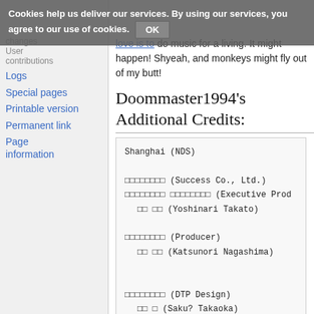Cookies help us deliver our services. By using our services, you agree to our use of cookies. OK
changes
User contributions
Logs
Special pages
Printable version
Permanent link
Page information
love is to do music for a living. It might happen! Shyeah, and monkeys might fly out of my butt!
Doommaster1994's Additional Credits:
Shanghai (NDS)

□□□□□□□□ (Success Co., Ltd.)
□□□□□□□□ □□□□□□□□ (Executive Prod...
  □□ □□ (Yoshinari Takato)

□□□□□□□□ (Producer)
  □□ □□ (Katsunori Nagashima)


□□□□□□□□ (DTP Design)
  □□ □ (Saku? Takaoka)

□□□□□□□□ (WEB Design)